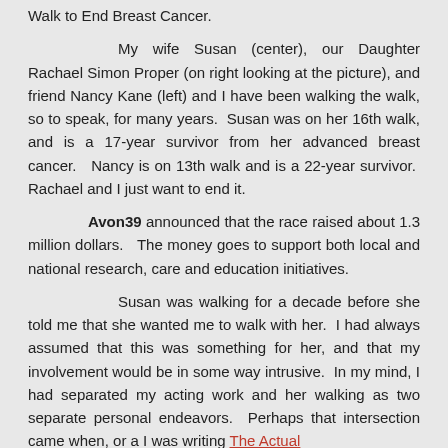Walk to End Breast Cancer.
My wife Susan (center), our Daughter Rachael Simon Proper (on right looking at the picture), and friend Nancy Kane (left) and I have been walking the walk, so to speak, for many years. Susan was on her 16th walk, and is a 17-year survivor from her advanced breast cancer.  Nancy is on 13th walk and is a 22-year survivor. Rachael and I just want to end it.
Avon39 announced that the race raised about 1.3 million dollars. The money goes to support both local and national research, care and education initiatives.
Susan was walking for a decade before she told me that she wanted me to walk with her. I had always assumed that this was something for her, and that my involvement would be in some way intrusive. In my mind, I had separated my acting work and her walking as two separate personal endeavors. Perhaps that intersection came when, or a I was writing The Actual